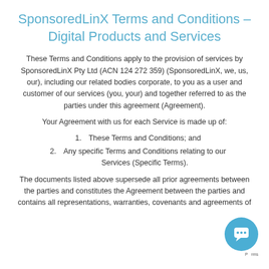SponsoredLinX Terms and Conditions – Digital Products and Services
These Terms and Conditions apply to the provision of services by SponsoredLinX Pty Ltd (ACN 124 272 359) (SponsoredLinX, we, us, our), including our related bodies corporate, to you as a user and customer of our services (you, your) and together referred to as the parties under this agreement (Agreement).
Your Agreement with us for each Service is made up of:
These Terms and Conditions; and
Any specific Terms and Conditions relating to our Services (Specific Terms).
The documents listed above supersede all prior agreements between the parties and constitutes the Agreement between the parties and contains all representations, warranties, covenants and agreements of